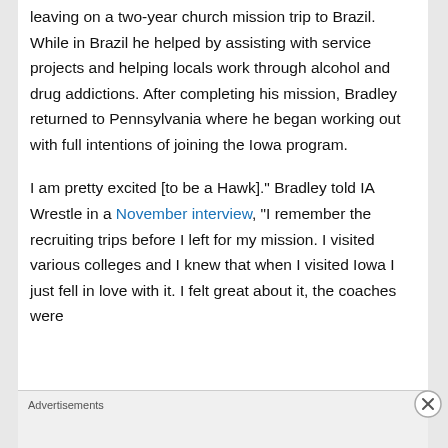leaving on a two-year church mission trip to Brazil. While in Brazil he helped by assisting with service projects and helping locals work through alcohol and drug addictions. After completing his mission, Bradley returned to Pennsylvania where he began working out with full intentions of joining the Iowa program.
I am pretty excited [to be a Hawk]." Bradley told IA Wrestle in a November interview, "I remember the recruiting trips before I left for my mission. I visited various colleges and I knew that when I visited Iowa I just fell in love with it. I felt great about it, the coaches were
Advertisements